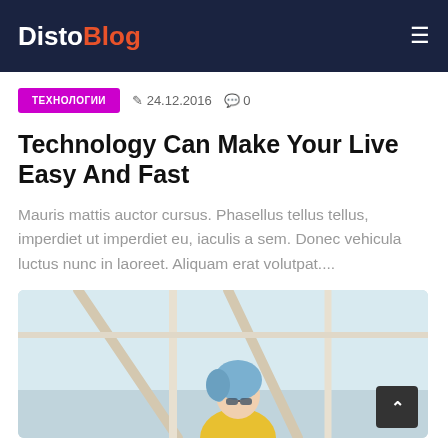DistoBlog
ТЕХНОЛОГИИ  24.12.2016  0
Technology Can Make Your Live Easy And Fast
Mauris mattis auctor cursus. Phasellus tellus tellus, imperdiet ut imperdiet eu, iaculis a sem. Donec vehicula luctus nunc in laoreet. Aliquam erat volutpat....
[Figure (photo): Person with blue hair seen from below near scaffolding or metal bars, colorful clothing visible]